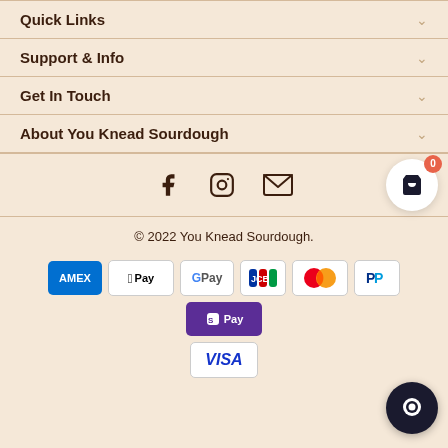Quick Links
Support & Info
Get In Touch
About You Knead Sourdough
[Figure (other): Social media icons: Facebook, Instagram, Email, and cart button with badge showing 0]
© 2022 You Knead Sourdough.
[Figure (other): Payment method logos: Amex, Apple Pay, Google Pay, JCB, Mastercard, PayPal, Shop Pay, Visa]